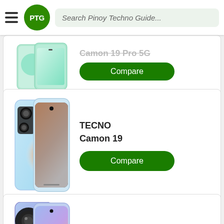PTG — Search Pinoy Techno Guide...
[Figure (screenshot): Partially visible TECNO Camon 19 Pro 5G phone listing with Compare button]
Camon 19 Pro 5G
[Figure (photo): TECNO Camon 19 smartphone image - blue/orange gradient back]
TECNO
Camon 19
[Figure (photo): Huawei nova Y90 smartphone image - blue/purple gradient back]
Huawei
nova Y90